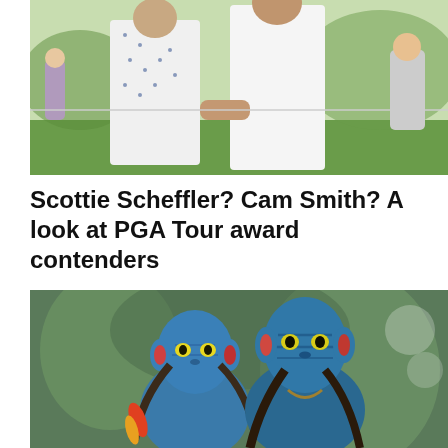[Figure (photo): Two golfers on a golf course, one in a white patterned shirt, with spectators in the background on a sunny day.]
Scottie Scheffler? Cam Smith? A look at PGA Tour award contenders
[Figure (photo): Two blue-skinned Na'vi characters from the movie Avatar, a female and male, facing each other closely.]